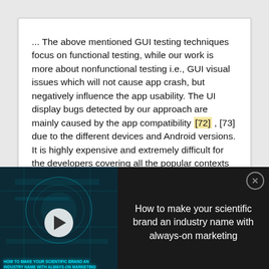... The above mentioned GUI testing techniques focus on functional testing, while our work is more about nonfunctional testing i.e., GUI visual issues which will not cause app crash, but negatively influence the app usability. The UI display bugs detected by our approach are mainly caused by the app compatibility [72] , [73] due to the different devices and Android versions. It is highly expensive and extremely difficult for the developers covering all the popular contexts when conducting testing.
[Figure (other): Dark advertisement overlay showing a video thumbnail with cyan circuit/technology graphics and text 'HOW TO MAKE YOUR SCIENTIFIC BRAND AN INDUSTRY NAME WITH ALWAYS-ON MARKETING' with a play button, alongside white text reading 'How to make your scientific brand an industry name with always-on marketing' and a close button.]
[Figure (other): ThermoFisher Scientific promotional strip with a thumbnail image of a scientific poster and text '2D vs 3D PSC expansion and neural differentiations']